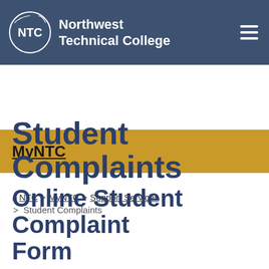Northwest Technical College
MyNTC
Student Complaints
NTC > MyNTC > Support Services > Student Complaints
Online Student Complaint Form